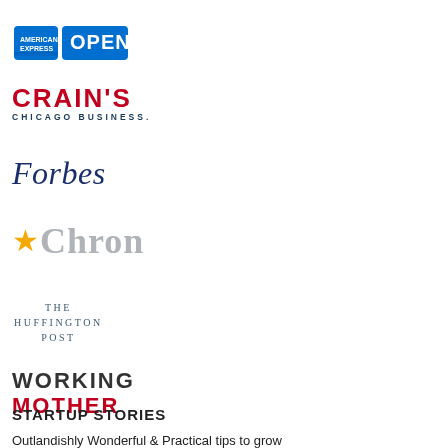[Figure (logo): American Express OPEN logo — blue rectangle with AMEX card icon and 'OPEN' in white on blue background]
[Figure (logo): Crain's Chicago Business logo — 'CRAIN'S' in bold red, 'CHICAGO BUSINESS.' in small blue caps below]
[Figure (logo): Forbes logo — italic serif 'Forbes' in navy blue]
[Figure (logo): Chron logo — gold star followed by 'Chron' in gray serif text]
[Figure (logo): The Huffington Post logo — 'THE HUFFINGTON POST' in teal/slate centered small caps]
[Figure (logo): Working Mother logo — 'WORKING' in dark gray and 'MOTHER' in red, bold caps]
STARTUP STORIES
Outlandishly Wonderful & Practical tips to grow your startup without spending